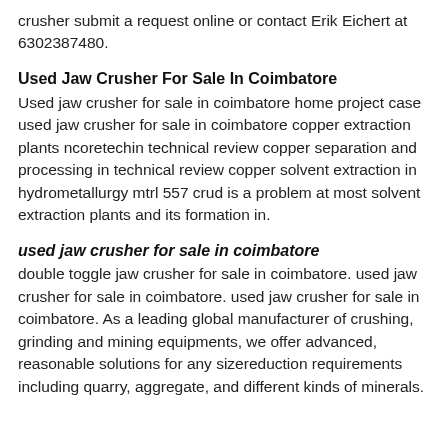crusher submit a request online or contact Erik Eichert at 6302387480.
Used Jaw Crusher For Sale In Coimbatore
Used jaw crusher for sale in coimbatore home project case used jaw crusher for sale in coimbatore copper extraction plants ncoretechin technical review copper separation and processing in technical review copper solvent extraction in hydrometallurgy mtrl 557 crud is a problem at most solvent extraction plants and its formation in.
used jaw crusher for sale in coimbatore
double toggle jaw crusher for sale in coimbatore. used jaw crusher for sale in coimbatore. used jaw crusher for sale in coimbatore. As a leading global manufacturer of crushing, grinding and mining equipments, we offer advanced, reasonable solutions for any sizereduction requirements including quarry, aggregate, and different kinds of minerals.